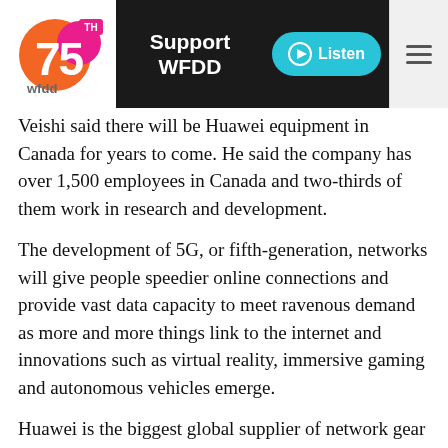wfdd | Support WFDD | Listen
Veishi said there will be Huawei equipment in Canada for years to come. He said the company has over 1,500 employees in Canada and two-thirds of them work in research and development.
The development of 5G, or fifth-generation, networks will give people speedier online connections and provide vast data capacity to meet ravenous demand as more and more things link to the internet and innovations such as virtual reality, immersive gaming and autonomous vehicles emerge.
Huawei is the biggest global supplier of network gear for phone and internet companies. It has